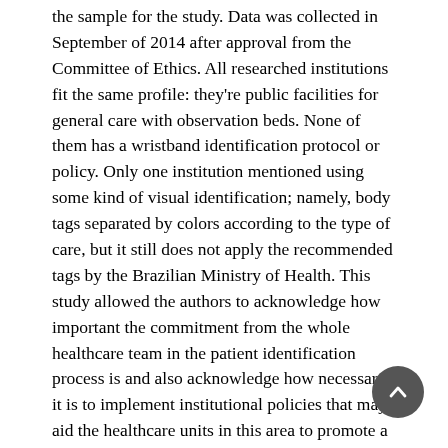the sample for the study. Data was collected in September of 2014 after approval from the Committee of Ethics. All researched institutions fit the same profile: they're public facilities for general care with observation beds. None of them has a wristband identification protocol or policy. Only one institution mentioned using some kind of visual identification; namely, body tags separated by colors according to the type of care, but it still does not apply the recommended tags by the Brazilian Ministry of Health. This study allowed the authors to acknowledge how important the commitment from the whole healthcare team in the patient identification process is and also acknowledge how necessary it is to implement institutional policies that may aid the healthcare units in this area to promote a quality and safe patient care.
Keywords: patient safety, identification, nursing, emergency care units